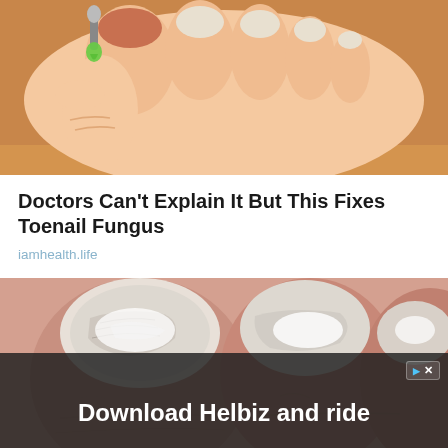[Figure (illustration): Illustration of a hand applying green liquid/treatment to a toenail with a dropper]
Doctors Can’t Explain It But This Fixes Toenail Fungus
iamhealth.life
[Figure (photo): Close-up photo of toenails with fungal infection with white cream applied]
[Figure (photo): Advertisement overlay: Download Helbiz and ride, showing electric scooter]